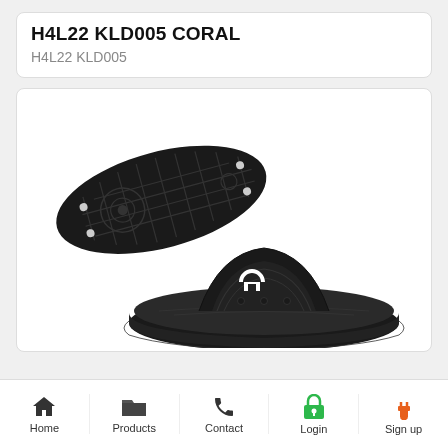H4L22 KLD005 CORAL
H4L22 KLD005
[Figure (photo): Two black Under Armour slide sandals displayed from different angles — one showing the bottom sole with circular tread pattern, and one showing the top strap view with white Under Armour logo]
Home  Products  Contact  Login  Sign up